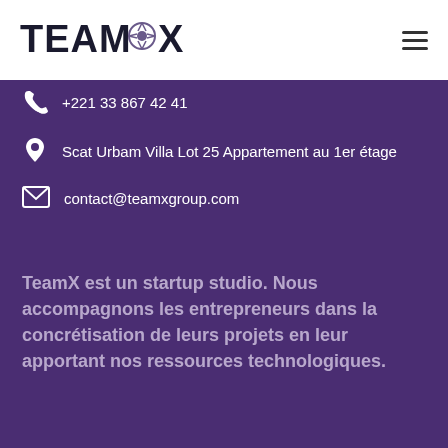[Figure (logo): TeamX logo with a soccer ball icon between TEAM and X text]
+221 33 867 42 41
Scat Urbam Villa Lot 25 Appartement au 1er étage
contact@teamxgroup.com
TeamX est un startup studio. Nous accompagnons les entrepreneurs dans la concrétisation de leurs projets en leur apportant nos ressources technologiques.